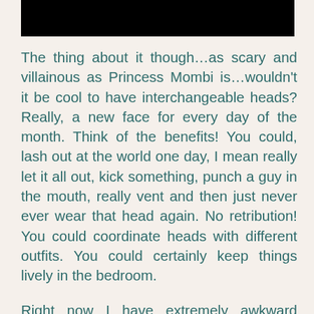[Figure (other): Black redacted bar at the top of the page]
The thing about it though…as scary and villainous as Princess Mombi is…wouldn't it be cool to have interchangeable heads?  Really, a new face for every day of the month.  Think of the benefits!  You could, lash out at the world one day, I mean really let it all out, kick something, punch a guy in the mouth, really vent and then just never ever wear that head again.  No retribution!  You could coordinate heads with different outfits.  You could certainly keep things lively in the bedroom.
Right now I have extremely awkward 'growing out phase' type hairstyle.  I also have Mt.